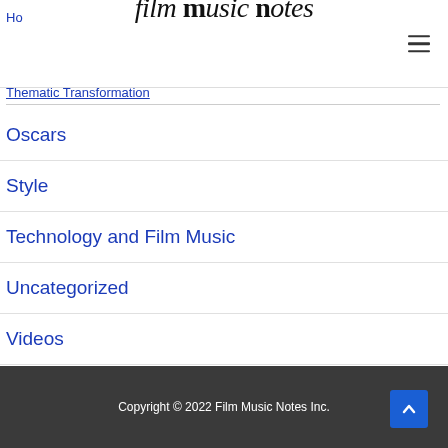film music notes — navigation menu
Oscars
Style
Technology and Film Music
Uncategorized
Videos
Copyright © 2022 Film Music Notes Inc.